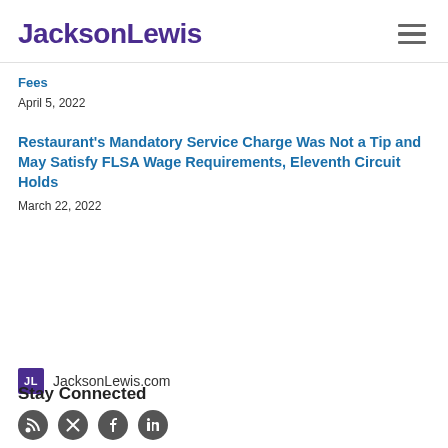JacksonLewis
Fees
April 5, 2022
Restaurant's Mandatory Service Charge Was Not a Tip and May Satisfy FLSA Wage Requirements, Eleventh Circuit Holds
March 22, 2022
JacksonLewis.com
Stay Connected